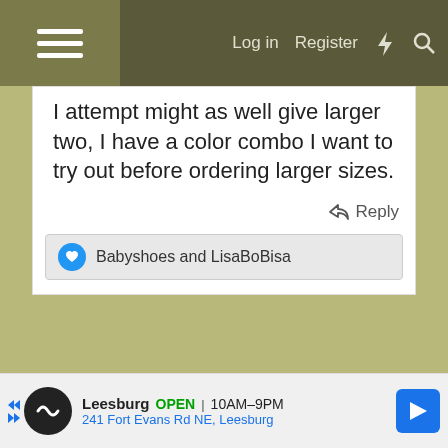Log in  Register
...I attempt might as well give larger two, I have a color combo I want to try out before ordering larger sizes.
Reply
Babyshoes and LisaBoBisa
Leesburg  OPEN  10AM–9PM  241 Fort Evans Rd NE, Leesburg